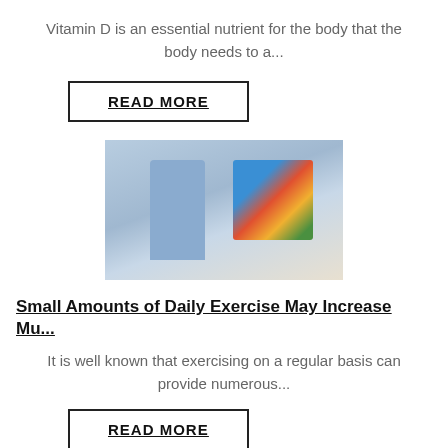Vitamin D is an essential nutrient for the body that the body needs to a...
READ MORE
[Figure (photo): Person exercising in front of a TV screen showing a fitness video]
Small Amounts of Daily Exercise May Increase Mu...
It is well known that exercising on a regular basis can provide numerous...
READ MORE
[Figure (photo): Honey or food item on light blue background, partially visible]